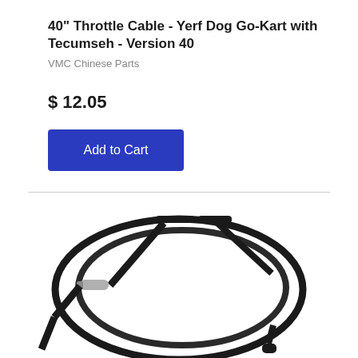40" Throttle Cable - Yerf Dog Go-Kart with Tecumseh - Version 40
VMC Chinese Parts
$ 12.05
[Figure (photo): Photo of a black throttle cable coiled in a circular loop with a silver metal end fitting on one side and black plastic ends, shown on a white background.]